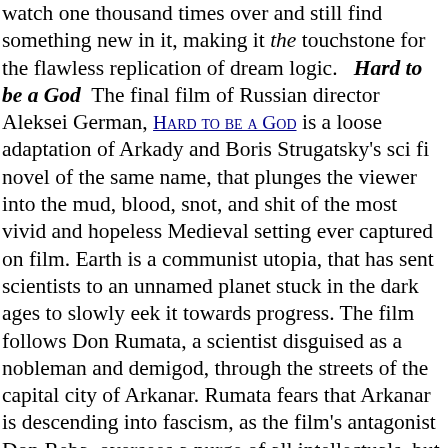watch one thousand times over and still find something new in it, making it the touchstone for the flawless replication of dream logic.   Hard to be a God  The final film of Russian director Aleksei German, Hard to be a God is a loose adaptation of Arkady and Boris Strugatsky's sci fi novel of the same name, that plunges the viewer into the mud, blood, snot, and shit of the most vivid and hopeless Medieval setting ever captured on film. Earth is a communist utopia, that has sent scientists to an unnamed planet stuck in the dark ages to slowly eek it towards progress. The film follows Don Rumata, a scientist disguised as a nobleman and demigod, through the streets of the capital city of Arkanar. Rumata fears that Arkanar is descending into fascism, as the film's antagonist Don Reba, oversees a purge of all intellectuals, but is restrained from bringing to bear the full extent of his power, by constraints of his role as a scientist and observer.  The camera pans seamlessly through cluttered landscapes, populated by grotesque figures, peering into the camera curiously, or jostling it, each shot capturing a vista of ignorance, cruelty, barbarity, and filth, giving the viewer the sense that they are wading through one of Hieronymus Bosch's hellscapes. German constructs a world which is too immersive and immediate for comfort, an outright assault on the senses that distorts the viewer's